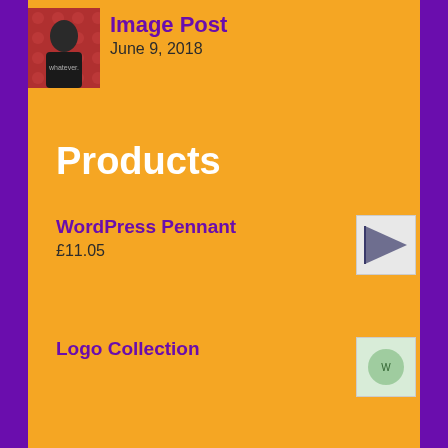[Figure (photo): Avatar photo of a person in a black t-shirt with floral background]
Image Post
June 9, 2018
Products
WordPress Pennant
£11.05
Logo Collection
Beanie with Logo
£20.00 £18.00
T-Shirt with Logo
£18.00
Single